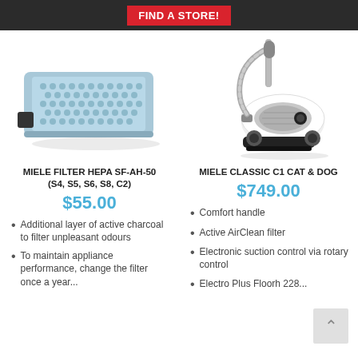FIND A STORE!
[Figure (photo): HEPA filter product photo - rectangular blue/grey HEPA filter for Miele vacuum cleaners]
[Figure (photo): Miele Classic C1 Cat & Dog canister vacuum cleaner in white and black]
MIELE FILTER HEPA SF-AH-50 (S4, S5, S6, S8, C2)
MIELE CLASSIC C1 CAT & DOG
$55.00
$749.00
Additional layer of active charcoal to filter unpleasant odours
To maintain appliance performance, change the filter once a year...
Comfort handle
Active AirClean filter
Electronic suction control via rotary control
Electro Plus Floorh 228...